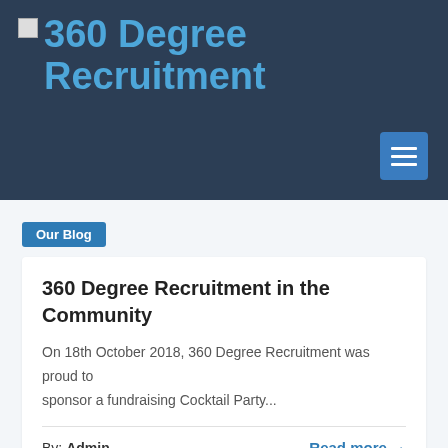[Figure (logo): 360 Degree Recruitment logo text in blue on dark navy background, with a broken image icon to the left]
[Figure (other): Hamburger menu button (three horizontal white lines) on a blue square, positioned bottom-right of the header]
Our Blog
360 Degree Recruitment in the Community
On 18th October 2018, 360 Degree Recruitment was proud to sponsor a fundraising Cocktail Party...
By: Admin
Read more →